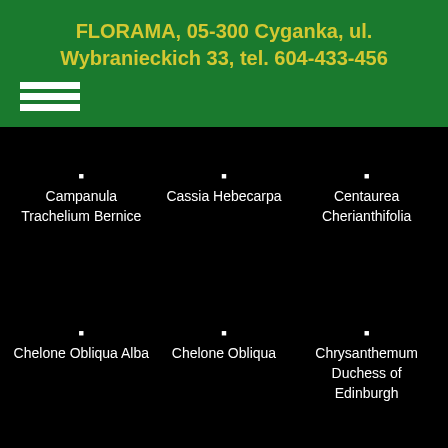FLORAMA, 05-300 Cyganka, ul. Wybranieckich 33, tel. 604-433-456
[Figure (other): Hamburger menu icon with three white horizontal lines on green background]
Campanula Trachelium Bernice
Cassia Hebecarpa
Centaurea Cherianthifolia
Chelone Obliqua Alba
Chelone Obliqua
Chrysanthemum Duchess of Edinburgh